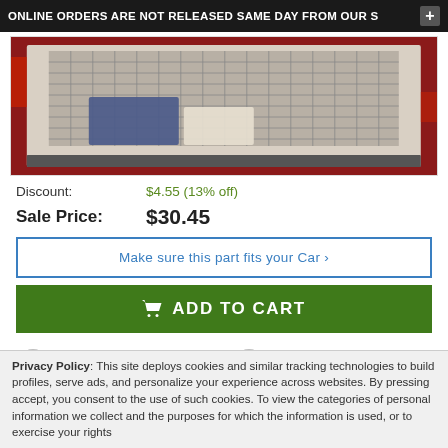ONLINE ORDERS ARE NOT RELEASED SAME DAY FROM OUR S
[Figure (photo): Photo of an open car trunk showing a cargo net/organizer with items inside, dark red exterior vehicle]
Discount: $4.55 (13% off)
Sale Price: $30.45
Make sure this part fits your Car ›
ADD TO CART
Manufacturer Warranty
Minimum of 12 Months
Guaranteed Fitment
Always the correct parts
Shop with Confidence
Your information is safe
In-House Experts
We know our products
DETAILS
Privacy Policy: This site deploys cookies and similar tracking technologies to build profiles, serve ads, and personalize your experience across websites. By pressing accept, you consent to the use of such cookies. To view the categories of personal information we collect and the purposes for which the information is used, or to exercise your rights